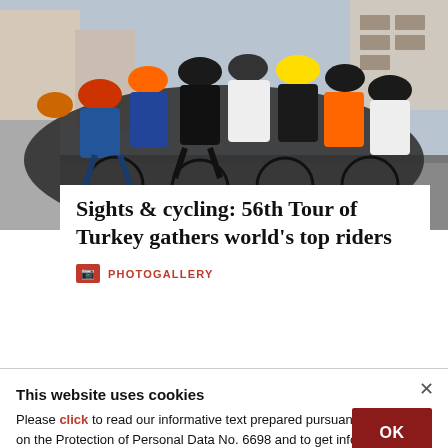[Figure (photo): A large group of cyclists in colorful racing gear riding through a city street during the 56th Tour of Turkey cycling race.]
Sights & cycling: 56th Tour of Turkey gathers world's top riders
PHOTOGALLERY
This website uses cookies
Please click to read our informative text prepared pursuant to the Law on the Protection of Personal Data No. 6698 and to get information about the cookies used on our